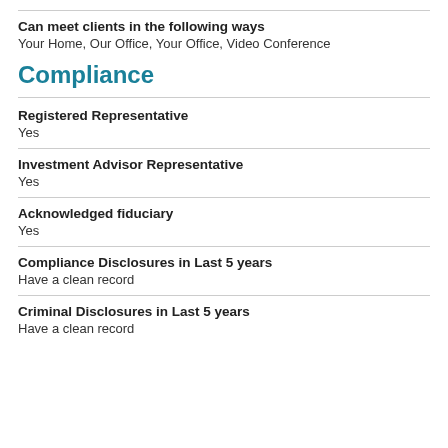Can meet clients in the following ways
Your Home, Our Office, Your Office, Video Conference
Compliance
Registered Representative
Yes
Investment Advisor Representative
Yes
Acknowledged fiduciary
Yes
Compliance Disclosures in Last 5 years
Have a clean record
Criminal Disclosures in Last 5 years
Have a clean record